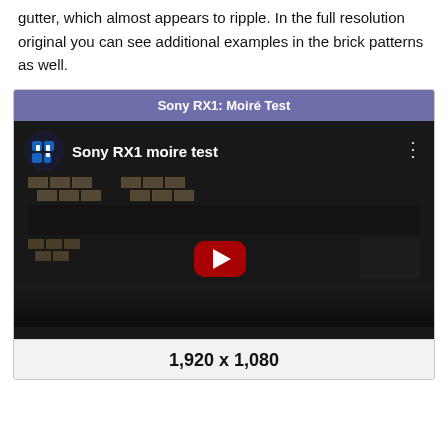gutter, which almost appears to ripple. In the full resolution original you can see additional examples in the brick patterns as well.
[Figure (screenshot): Embedded video thumbnail showing 'Sony RX1 moire test' YouTube video with a house/garage scene. Has a purple title bar reading 'Sony RX1: Moiré Test', a video thumbnail with the YouTube play button, and a bottom bar showing '1,920 x 1,080'.]